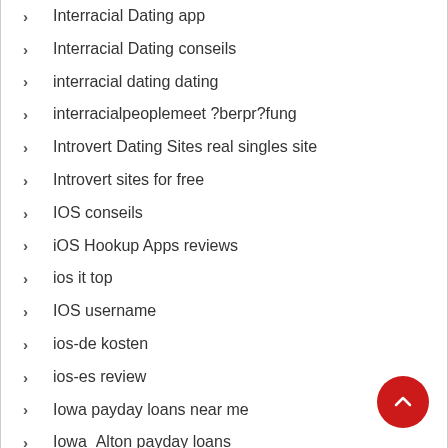Interracial Dating app
Interracial Dating conseils
interracial dating dating
interracialpeoplemeet ?berpr?fung
Introvert Dating Sites real singles site
Introvert sites for free
IOS conseils
iOS Hookup Apps reviews
ios it top
IOS username
ios-de kosten
ios-es review
Iowa payday loans near me
Iowa_Alton payday loans
Iowa_Carroll payday loans